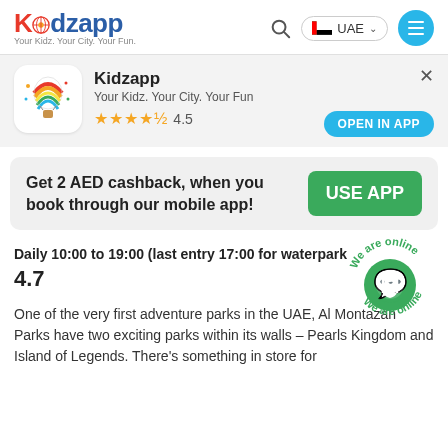Kidzapp — Your Kidz. Your City. Your Fun. | UAE
[Figure (screenshot): Kidzapp app install banner with app icon, name, tagline, 4.5 star rating, and OPEN IN APP button]
Get 2 AED cashback, when you book through our mobile app!
Daily 10:00 to 19:00 (last entry 17:00 for waterpark
4.7
One of the very first adventure parks in the UAE, Al Montazah Parks have two exciting parks within its walls – Pearls Kingdom and Island of Legends. There's something in store for